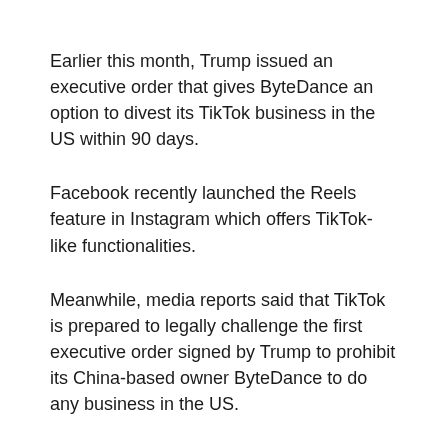Earlier this month, Trump issued an executive order that gives ByteDance an option to divest its TikTok business in the US within 90 days.
Facebook recently launched the Reels feature in Instagram which offers TikTok-like functionalities.
Meanwhile, media reports said that TikTok is prepared to legally challenge the first executive order signed by Trump to prohibit its China-based owner ByteDance to do any business in the US.
The executive order “directed the Secretary of Commerce to come up with a list of transactions involving ByteDance and its holdings that should be banned after 45 days”.